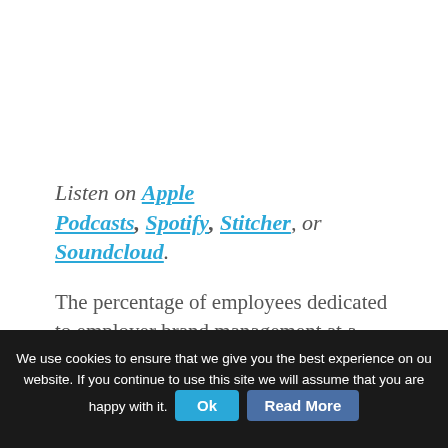Listen on Apple Podcasts, Spotify, Stitcher, or Soundcloud.
The percentage of employees dedicated to employer brand management at a given organization isn't universal. Relative to its size, Fisher
We use cookies to ensure that we give you the best experience on our website. If you continue to use this site we will assume that you are happy with it.